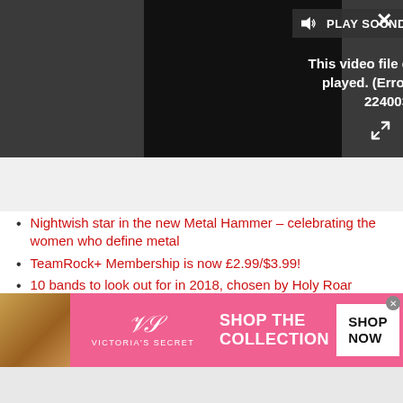[Figure (screenshot): Video player showing error: 'This video file cannot be played. (Error Code: 224003)' with a PLAY SOUND button and close/expand controls on a dark background.]
Nightwish star in the new Metal Hammer – celebrating the women who define metal
TeamRock+ Membership is now £2.99/$3.99!
10 bands to look out for in 2018, chosen by Holy Roar Records
It's not all opposition though. In 2017, Lord Holmes'
[Figure (screenshot): Victoria's Secret advertisement banner with pink background, model photo, VS logo, 'SHOP THE COLLECTION' text and 'SHOP NOW' button.]